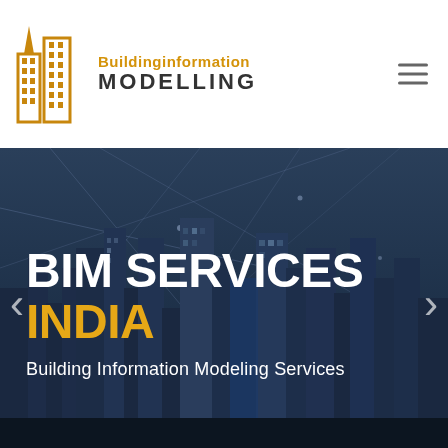[Figure (logo): Building Information Modelling logo with a golden building icon on the left and two-line text: 'Buildinginformation' in gold and 'MODELLING' in dark bold on the right]
BIM SERVICES INDIA
Building Information Modeling Services
[Figure (photo): Hero banner image of a city skyline at dusk/night with tall skyscrapers, overlaid with a dark blue tint and glowing network/connectivity lines in the background]